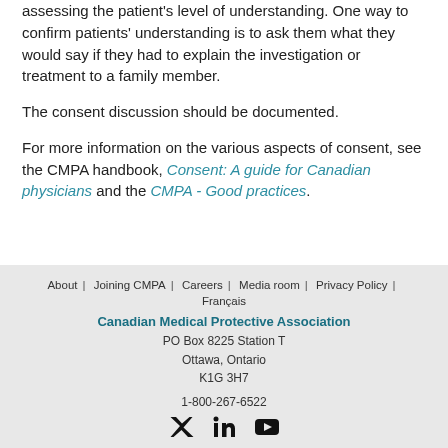assessing the patient's level of understanding. One way to confirm patients' understanding is to ask them what they would say if they had to explain the investigation or treatment to a family member.
The consent discussion should be documented.
For more information on the various aspects of consent, see the CMPA handbook, Consent: A guide for Canadian physicians and the CMPA - Good practices.
About | Joining CMPA | Careers | Media room | Privacy Policy | Français
Canadian Medical Protective Association
PO Box 8225 Station T
Ottawa, Ontario
K1G 3H7
1-800-267-6522